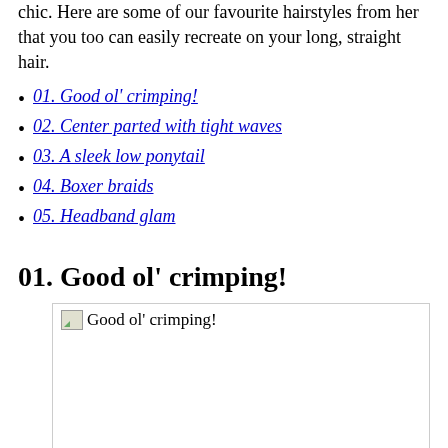chic. Here are some of our favourite hairstyles from her that you too can easily recreate on your long, straight hair.
01. Good ol' crimping!
02. Center parted with tight waves
03. A sleek low ponytail
04. Boxer braids
05. Headband glam
01. Good ol' crimping!
[Figure (photo): Broken image placeholder labeled 'Good ol' crimping!']